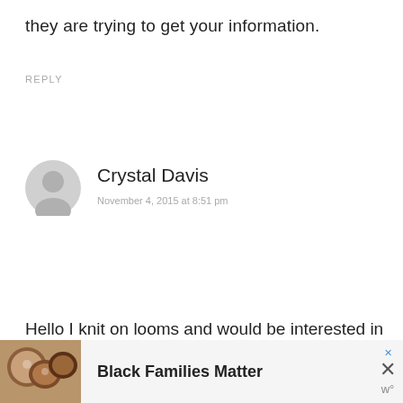they are trying to get your information.
REPLY
Crystal Davis
November 4, 2015 at 8:51 pm
Hello I knit on looms and would be interested in making some newborn hats to donate. I live in London, KY. Could someone email me and let me know if loom knit hats would be acceptable
[Figure (infographic): Advertisement banner showing Black Families Matter with a photo of smiling people and close buttons]